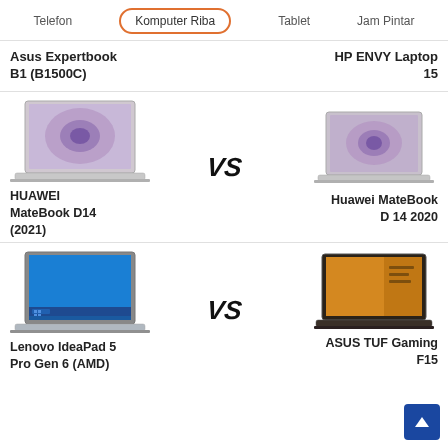Telefon | Komputer Riba | Tablet | Jam Pintar
Asus Expertbook B1 (B1500C) vs HP ENVY Laptop 15
[Figure (screenshot): Comparison card: HUAWEI MateBook D14 (2021) vs Huawei MateBook D 14 2020 with laptop images and VS text]
[Figure (screenshot): Comparison card: Lenovo IdeaPad 5 Pro Gen 6 (AMD) vs ASUS TUF Gaming F15 with laptop images and VS text]